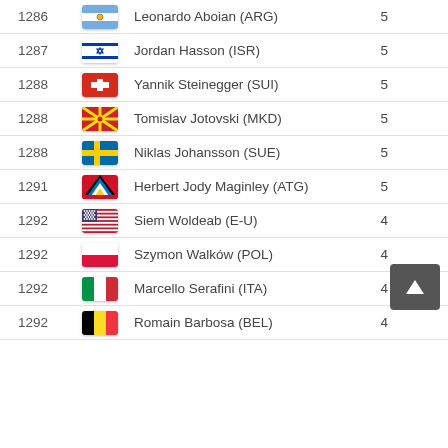| Rank | Flag | Name | Score |
| --- | --- | --- | --- |
| 1286 | ARG | Leonardo Aboian (ARG) | 5 |
| 1287 | ISR | Jordan Hasson (ISR) | 5 |
| 1288 | SUI | Yannik Steinegger (SUI) | 5 |
| 1288 | MKD | Tomislav Jotovski (MKD) | 5 |
| 1288 | SUE | Niklas Johansson (SUE) | 5 |
| 1291 | ATG | Herbert Jody Maginley (ATG) | 5 |
| 1292 | E-U | Siem Woldeab (E-U) | 4 |
| 1292 | POL | Szymon Walków (POL) | 4 |
| 1292 | ITA | Marcello Serafini (ITA) | 4 |
| 1292 | BEL | Romain Barbosa (BEL) | 4 |